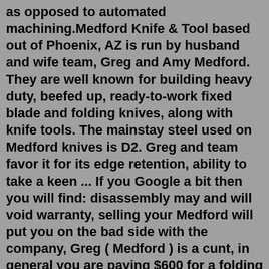as opposed to automated machining.Medford Knife & Tool based out of Phoenix, AZ is run by husband and wife team, Greg and Amy Medford. They are well known for building heavy duty, beefed up, ready-to-work fixed blade and folding knives, along with knife tools. The mainstay steel used on Medford knives is D2. Greg and team favor it for its edge retention, ability to take a keen ... If you Google a bit then you will find: disassembly may and will void warranty, selling your Medford will put you on the bad side with the company, Greg ( Medford ) is a cunt, in general you are paying $600 for a folding prybar with D2 and if you use it as a prybar you will lose your warranty. 3. ... Medford ask knives. johnson 90 hp outboard ...New for 2022, ASK Knife and The Medford Guy have released a limited edition American Service Knife! These pocket knives from ASK Knives are hard to beat. Click for more! Medford ask knives; sophie ng two sigma; various tokyo revengers x reader; hamilton books graphic novel; investment property near disney world; samsung s8 plus update